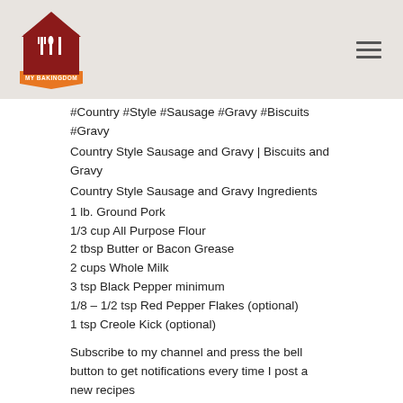[Figure (logo): My Bakingdom logo with red house shape, white fork and knife icons, orange banner with text MY BAKINGDOM]
#Country #Style #Sausage #Gravy #Biscuits #Gravy
Country Style Sausage and Gravy | Biscuits and Gravy
Country Style Sausage and Gravy Ingredients
1 lb. Ground Pork
1/3 cup All Purpose Flour
2 tbsp Butter or Bacon Grease
2 cups Whole Milk
3 tsp Black Pepper minimum
1/8 – 1/2 tsp Red Pepper Flakes (optional)
1 tsp Creole Kick (optional)
Subscribe to my channel and press the bell button to get notifications every time I post a new recipes
Online YouTube Store –
SUBSCRIBE FOR MORE ► ►
Click this link to become a member of Smokin and Grillin wit AB